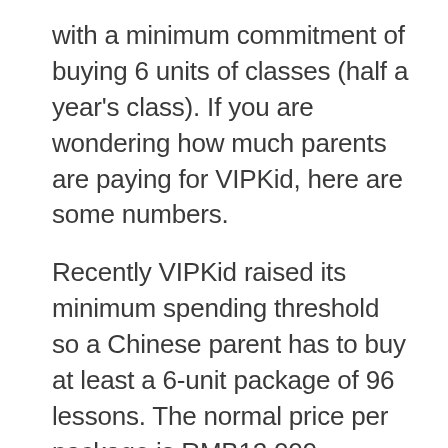with a minimum commitment of buying 6 units of classes (half a year's class). If you are wondering how much parents are paying for VIPKid, here are some numbers.
Recently VIPKid raised its minimum spending threshold so a Chinese parent has to buy at least a 6-unit package of 96 lessons. The normal price per package is RMB12,000 (US$1,835) with a promotional price sometimes at RMB10,980 (US$1,679). This means on average a Chinese parent is paying RMB125 (US$20) for a 25-minute lesson